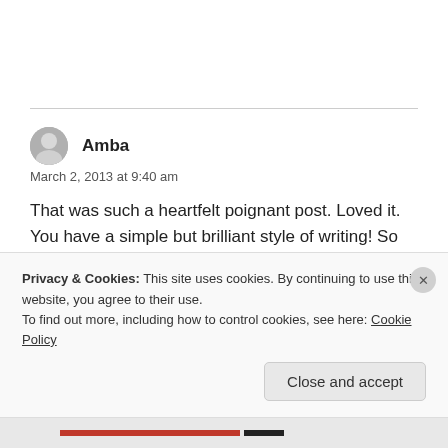Amba
March 2, 2013 at 9:40 am
That was such a heartfelt poignant post. Loved it. You have a simple but brilliant style of writing! So easy to connect to. yet look up to 🙂
Privacy & Cookies: This site uses cookies. By continuing to use this website, you agree to their use.
To find out more, including how to control cookies, see here: Cookie Policy
Close and accept